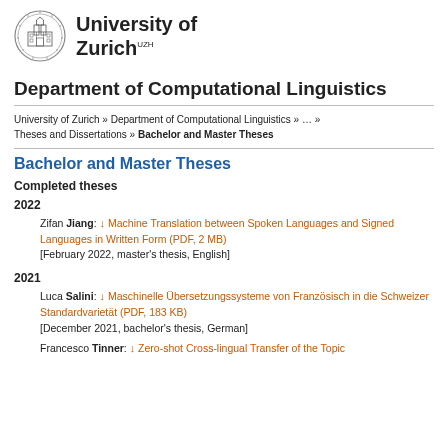[Figure (logo): University of Zurich circular seal/crest logo]
University of Zurich UZH
Department of Computational Linguistics
University of Zurich » Department of Computational Linguistics » … » Theses and Dissertations » Bachelor and Master Theses
Bachelor and Master Theses
Completed theses
2022
Zifan Jiang: ↓ Machine Translation between Spoken Languages and Signed Languages in Written Form (PDF, 2 MB) [February 2022, master's thesis, English]
2021
Luca Salini: ↓ Maschinelle Übersetzungssysteme von Französisch in die Schweizer Standardvarietät (PDF, 183 KB) [December 2021, bachelor's thesis, German]
Francesco Tinner: ↓ Zero-shot Cross-lingual Transfer of the Topic